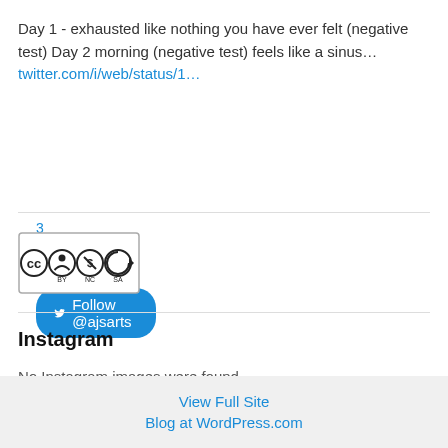Day 1 - exhausted like nothing you have ever felt (negative test) Day 2 morning (negative test) feels like a sinus… twitter.com/i/web/status/1…
3 weeks ago
[Figure (other): Follow @ajsarts button with Twitter bird icon]
[Figure (logo): Creative Commons BY NC SA license logo]
Instagram
No Instagram images were found.
View Full Site
Blog at WordPress.com